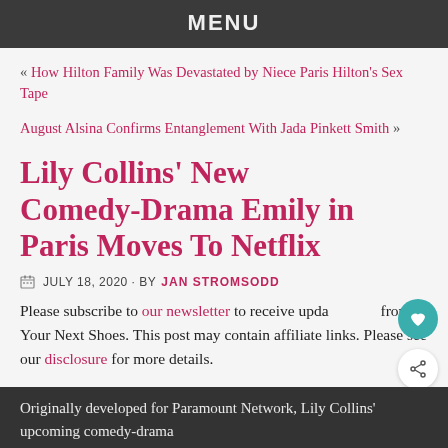MENU
« How Hilton Family Was Devastated by Niece Paris Hilton's Sex Tape
August Alsina Confirms Entanglement With Jada Pinkett Smith »
Lily Collins' New Comedy-Drama Emily in Paris Moves To Netflix
JULY 18, 2020 · BY JAN STROMSODD
Please subscribe to our newsletter to receive updates from Your Next Shoes. This post may contain affiliate links. Please see our disclosure for more details.
Originally developed for Paramount Network, Lily Collins' upcoming comedy-drama